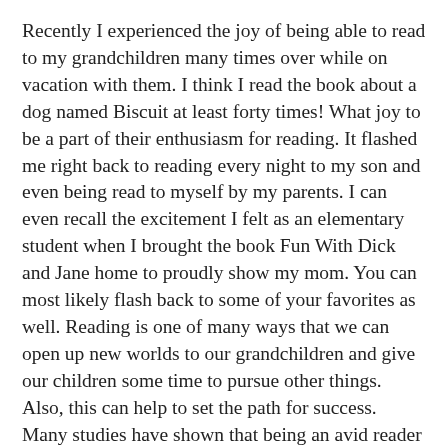Recently I experienced the joy of being able to read to my grandchildren many times over while on vacation with them. I think I read the book about a dog named Biscuit at least forty times! What joy to be a part of their enthusiasm for reading. It flashed me right back to reading every night to my son and even being read to myself by my parents. I can even recall the excitement I felt as an elementary student when I brought the book Fun With Dick and Jane home to proudly show my mom. You can most likely flash back to some of your favorites as well. Reading is one of many ways that we can open up new worlds to our grandchildren and give our children some time to pursue other things. Also, this can help to set the path for success. Many studies have shown that being an avid reader gives youngsters a real advantage when it comes to learning overall.
▶ Read more: Summer Reading Fun